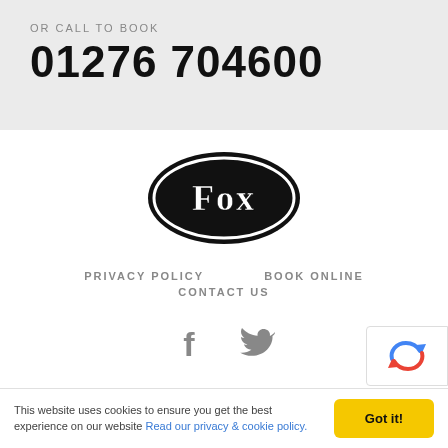OR CALL TO BOOK
01276 704600
[Figure (logo): Fox oval logo — black oval with white border and 'Fox' text in decorative font]
PRIVACY POLICY    BOOK ONLINE
CONTACT US
[Figure (illustration): Facebook and Twitter social media icons in grey]
[Figure (other): reCAPTCHA badge partially visible in lower right corner]
This website uses cookies to ensure you get the best experience on our website Read our privacy & cookie policy.